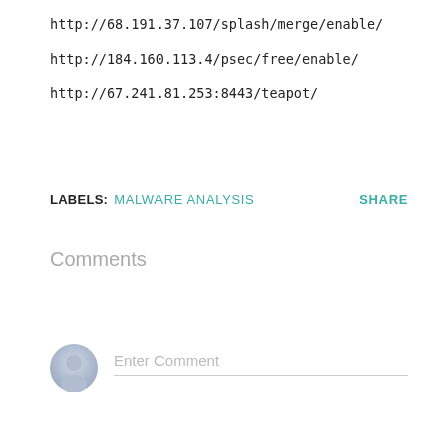http://68.191.37.107/splash/merge/enable/
http://184.160.113.4/psec/free/enable/
http://67.241.81.253:8443/teapot/
LABELS: MALWARE ANALYSIS   SHARE
Comments
Enter Comment